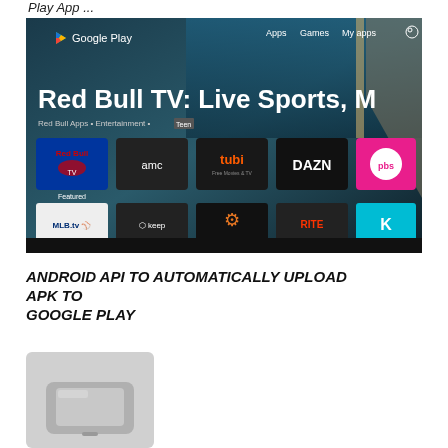Play App ...
[Figure (screenshot): Screenshot of Google Play store on Android TV showing Red Bull TV: Live Sports, M... app. Visible app icons include Red Bull TV, AMC, tubi, DAZN, PBS, MLB.tv, Keeo, NBC Sports, and others.]
ANDROID API TO AUTOMATICALLY UPLOAD APK TO GOOGLE PLAY
[Figure (photo): Partial image of a device, likely an Android TV box or similar hardware, shown at the bottom of the page.]